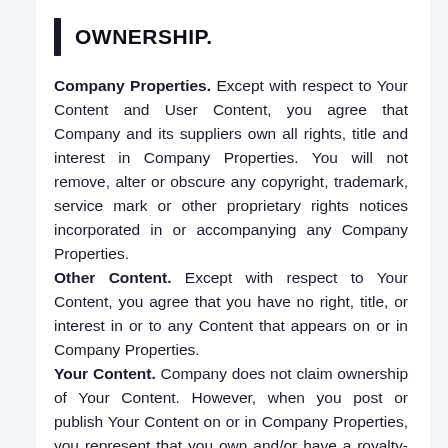OWNERSHIP.
Company Properties. Except with respect to Your Content and User Content, you agree that Company and its suppliers own all rights, title and interest in Company Properties. You will not remove, alter or obscure any copyright, trademark, service mark or other proprietary rights notices incorporated in or accompanying any Company Properties.
Other Content. Except with respect to Your Content, you agree that you have no right, title, or interest in or to any Content that appears on or in Company Properties.
Your Content. Company does not claim ownership of Your Content. However, when you post or publish Your Content on or in Company Properties, you represent that you own and/or have a royalty-free,